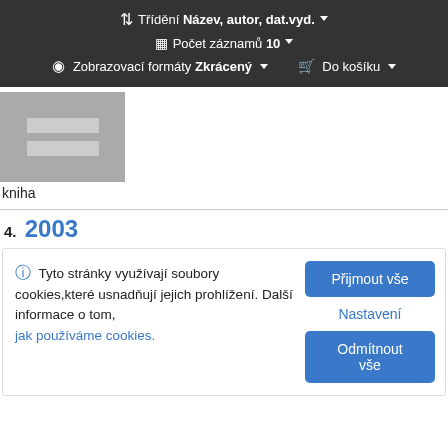↕ Třídění Název, autor, dat.vyd. ▾  |  ▦ Počet záznamů 10 ▾  |  👁 Zobrazovací formáty Zkrácený ▾  🛒 Do košíku ▾
[Figure (other): Book thumbnail placeholder with two gray horizontal bars on a gray background]
kniha
4. 2003
ℹ Tyto stránky využívají soubory cookies,které usnadňují jejich prohlížení. Další informace o tom, jak používáme cookies.
Přijmout vše | Nastavení | Odmítnout vše